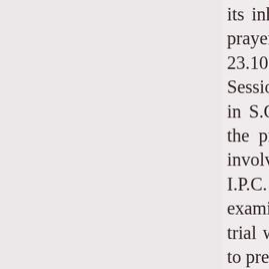its inherent powers conferred thereunder, with the prayer to quash the impugned Anx.B order dated 23.10.2014 rendered by the IVth Additional Sessions Judge, Thrissur, on Crl.M.P.No.4329/2014 in S.C.No.356/2007. By the said impugned order, the prayer made by the prosecution in this case involving capital offence under Sec.302 of the I.P.C. for producing additional documents to examine additional witness during the course of trial was allowed. The prosecution case is that due to previous enmity, on